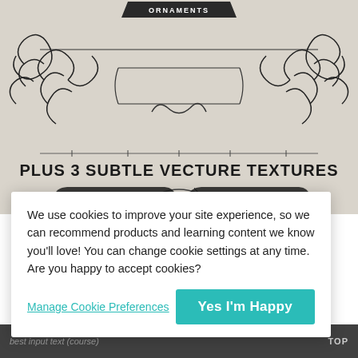[Figure (illustration): Decorative vintage ornaments illustration on textured paper background with swirls, flourishes, and banner shapes. Text 'ORNAMENTS' in a dark badge at top center. Bold text 'PLUS 3 SUBTLE VECTURE TEXTURES' below the ornaments. Dark shield/badge shapes at the bottom.]
We use cookies to improve your site experience, so we can recommend products and learning content we know you'll love! You can change cookie settings at any time. Are you happy to accept cookies?
Manage Cookie Preferences
Yes I'm Happy
TOP